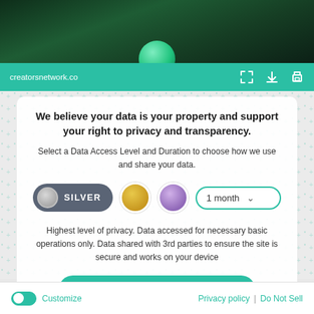[Figure (screenshot): Dark green background with a green bubble/circle at bottom center, representing a website header image]
creatorsnetwork.co
We believe your data is your property and support your right to privacy and transparency.
Select a Data Access Level and Duration to choose how we use and share your data.
[Figure (infographic): Silver button selected, gold circle, purple circle, and 1 month dropdown selector]
Highest level of privacy. Data accessed for necessary basic operations only. Data shared with 3rd parties to ensure the site is secure and works on your device
Save my preferences
Customize  Privacy policy  |  Do Not Sell